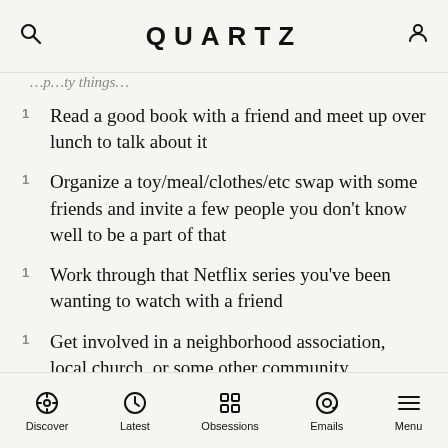QUARTZ
…p…ty things…
Read a good book with a friend and meet up over lunch to talk about it
Organize a toy/meal/clothes/etc swap with some friends and invite a few people you don't know well to be a part of that
Work through that Netflix series you've been wanting to watch with a friend
Get involved in a neighborhood association, local church, or some other community organization
Share with your kids about your favorite childhood holiday memories and stories
Discover | Latest | Obsessions | Emails | Menu